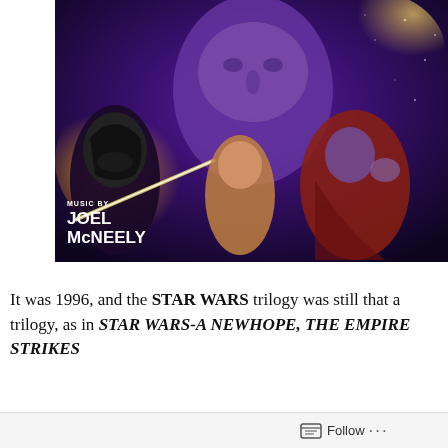[Figure (illustration): Album cover artwork for a Star Wars soundtrack. Shows dramatic illustrated characters including Darth Vader (left), a young man in center, a large imposing face in background (Emperor Palpatine), and a robed figure on the right with glowing yellow light effects. Text overlay reads 'MUSIC BY JOEL McNEELY' in white bold letters at lower left.]
It was 1996, and the STAR WARS trilogy was still that a trilogy, as in STAR WARS-A NEWHOPE, THE EMPIRE STRIKES